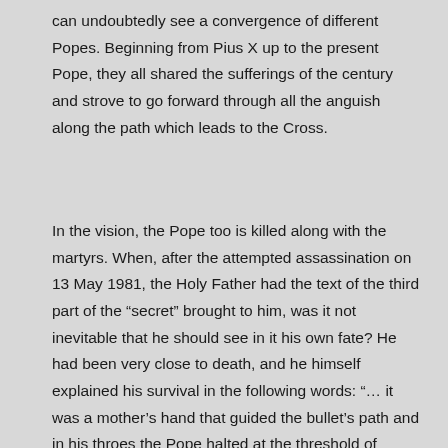can undoubtedly see a convergence of different Popes. Beginning from Pius X up to the present Pope, they all shared the sufferings of the century and strove to go forward through all the anguish along the path which leads to the Cross.
In the vision, the Pope too is killed along with the martyrs. When, after the attempted assassination on 13 May 1981, the Holy Father had the text of the third part of the “secret” brought to him, was it not inevitable that he should see in it his own fate? He had been very close to death, and he himself explained his survival in the following words: “… it was a mother’s hand that guided the bullet’s path and in his throes the Pope halted at the threshold of death” (13 May 1994).